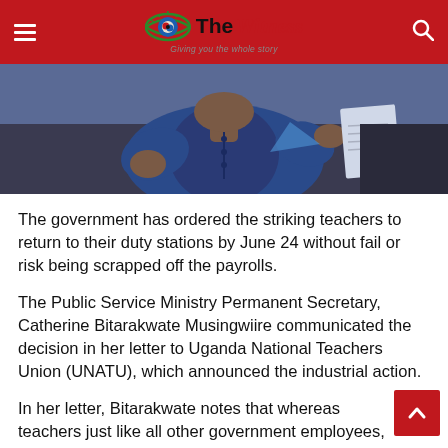The Witness — Giving you the whole story
[Figure (photo): A person in a blue top holding papers, photographed from the torso up. The background is dark.]
The government has ordered the striking teachers to return to their duty stations by June 24 without fail or risk being scrapped off the payrolls.
The Public Service Ministry Permanent Secretary, Catherine Bitarakwate Musingwiire communicated the decision in her letter to Uganda National Teachers Union (UNATU), which announced the industrial action.
In her letter, Bitarakwate notes that whereas teachers just like all other government employees,